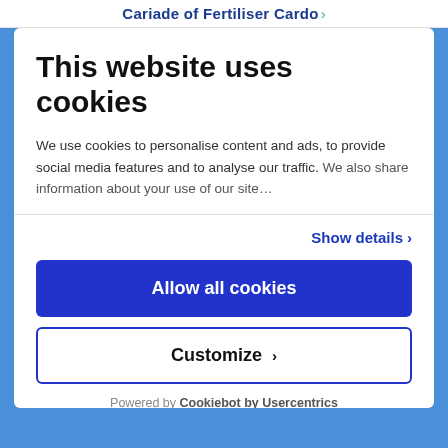Cariade of Fertiliser Cardo ›
This website uses cookies
We use cookies to personalise content and ads, to provide social media features and to analyse our traffic. We also share information about your use of our site…
Show details ›
Allow all cookies
Customize ›
Powered by Cookiebot by Usercentrics